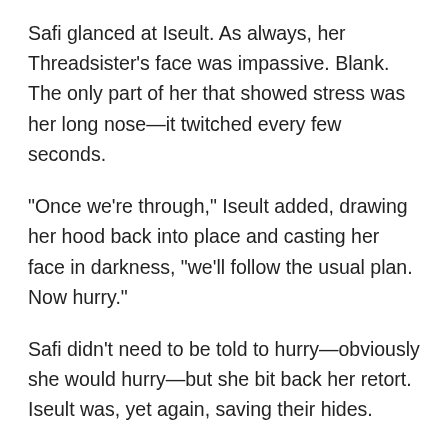Safi glanced at Iseult. As always, her Threadsister's face was impassive. Blank. The only part of her that showed stress was her long nose—it twitched every few seconds.
“Once we’re through,” Iseult added, drawing her hood back into place and casting her face in darkness, “we’ll follow the usual plan. Now hurry.”
Safi didn’t need to be told to hurry—obviously she would hurry—but she bit back her retort. Iseult was, yet again, saving their hides.
Besides, if Safi had to hear one more I told you so, she’d throttle her Threadsister and leave her carcass to the hermit crabs.